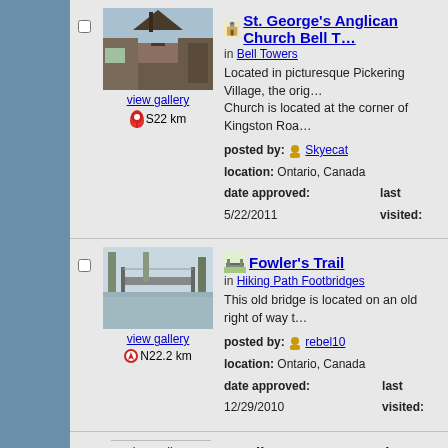[Figure (photo): Photo of St. George's Anglican Church, a red brick church with a pointed steeple]
view gallery
S22 km
St. George's Anglican Church Bell Towers — in Bell Towers — Located in picturesque Pickering Village, the orig... Church is located at the corner of Kingston Roa... posted by: Skyecat — location: Ontario, Canada — date approved: 5/22/2011 — last visited:
[Figure (photo): Photo of Fowler's Trail footbridge over a snowy river]
view gallery
N22.2 km
Fowler's Trail — in Hiking Path Footbridges — This old bridge is located on an old right of way t... posted by: rebel10 — location: Ontario, Canada — date approved: 12/29/2010 — last visited:
[Figure (photo): Photo of Milne Dam Suspension Bridge]
view gallery
SW24.5 km
Milne Dam Suspension Bridge - Ma... — in Pedestrian Suspension Bridges — A relatively new bridge over the Rouge River — posted by: Bon Echo